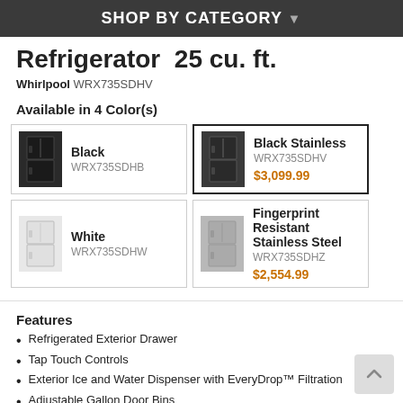SHOP BY CATEGORY ▾
Refrigerator  25 cu. ft.
Whirlpool WRX735SDHV
Available in 4 Color(s)
Black
WRX735SDHB
Black Stainless
WRX735SDHV
$3,099.99
White
WRX735SDHW
Fingerprint Resistant Stainless Steel
WRX735SDHZ
$2,554.99
Features
Refrigerated Exterior Drawer
Tap Touch Controls
Exterior Ice and Water Dispenser with EveryDrop™ Filtration
Adjustable Gallon Door Bins